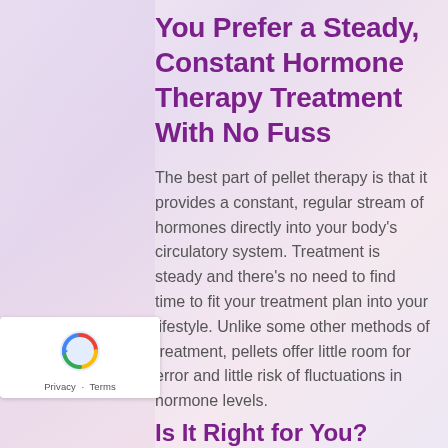You Prefer a Steady, Constant Hormone Therapy Treatment With No Fuss
The best part of pellet therapy is that it provides a constant, regular stream of hormones directly into your body's circulatory system. Treatment is steady and there's no need to find time to fit your treatment plan into your lifestyle. Unlike some other methods of treatment, pellets offer little room for error and little risk of fluctuations in hormone levels.